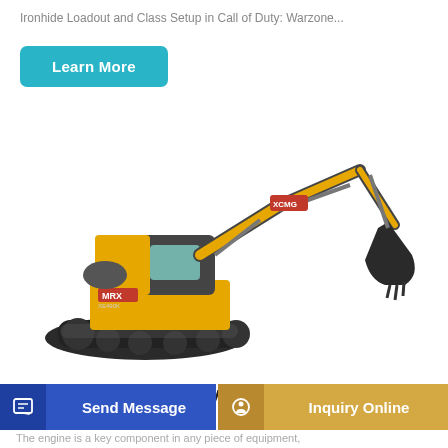Ironhide Loadout and Class Setup in Call of Duty: Warzone...
Learn More
[Figure (photo): XCMG branded large yellow hydraulic excavator with black tracks, raised arm and bucket, on white background]
Troubleshooting Why Your Engine Lacks or
Send Message
Inquiry Online